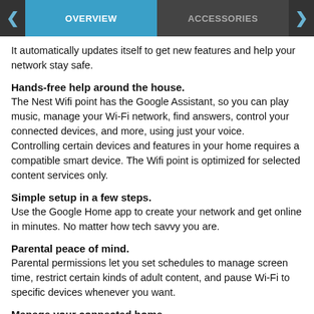OVERVIEW | ACCESSORIES
It automatically updates itself to get new features and help your network stay safe.
Hands-free help around the house.
The Nest Wifi point has the Google Assistant, so you can play music, manage your Wi-Fi network, find answers, control your connected devices, and more, using just your voice.
Controlling certain devices and features in your home requires a compatible smart device. The Wifi point is optimized for selected content services only.
Simple setup in a few steps.
Use the Google Home app to create your network and get online in minutes. No matter how tech savvy you are.
Parental peace of mind.
Parental permissions let you set schedules to manage screen time, restrict certain kinds of adult content, and pause Wi-Fi to specific devices whenever you want.
Manage your connected home.
Nest Wifi makes it easy to add, set up, and manage compatible connected devices in your home and all in the